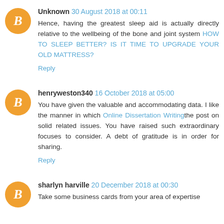Unknown 30 August 2018 at 00:11
Hence, having the greatest sleep aid is actually directly relative to the wellbeing of the bone and joint system HOW TO SLEEP BETTER? IS IT TIME TO UPGRADE YOUR OLD MATTRESS?
Reply
henryweston340 16 October 2018 at 05:00
You have given the valuable and accommodating data. I like the manner in which Online Dissertation Writingthe post on solid related issues. You have raised such extraordinary focuses to consider. A debt of gratitude is in order for sharing.
Reply
sharlyn harville 20 December 2018 at 00:30
Take some business cards from your area of expertise